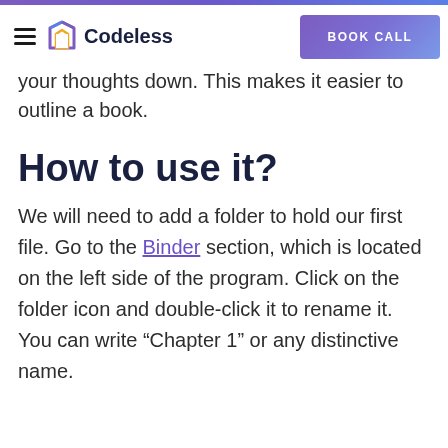Codeless | BOOK CALL
your thoughts down. This makes it easier to outline a book.
How to use it?
We will need to add a folder to hold our first file. Go to the Binder section, which is located on the left side of the program. Click on the folder icon and double-click it to rename it. You can write “Chapter 1” or any distinctive name.